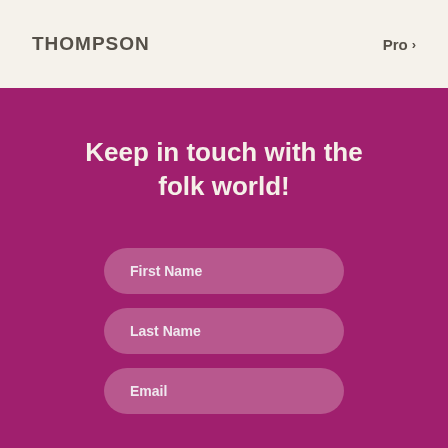THOMPSON   Pro >
Keep in touch with the folk world!
First Name
Last Name
Email